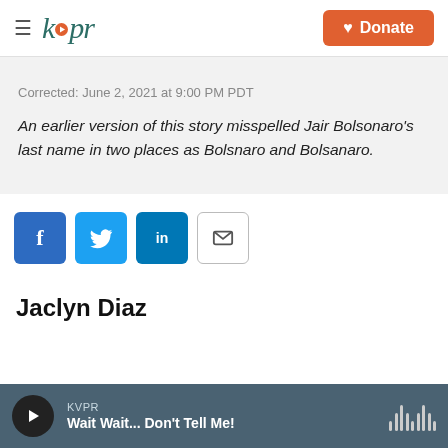kvpr | Donate
Corrected: June 2, 2021 at 9:00 PM PDT
An earlier version of this story misspelled Jair Bolsonaro's last name in two places as Bolsnaro and Bolsanaro.
[Figure (infographic): Social share buttons: Facebook, Twitter, LinkedIn, Email]
Jaclyn Diaz
KVPR — Wait Wait... Don't Tell Me!